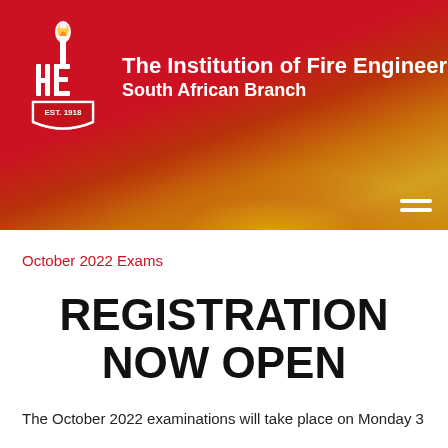[Figure (logo): The Institution of Fire Engineers South African Branch header banner with red and flame gradient background, IFE logo with torch and EST. 1918 shield on the left, organization name text on the right, and hamburger menu icon bottom right]
October 2022 Exams
REGISTRATION NOW OPEN
The October 2022 examinations will take place on Monday 3